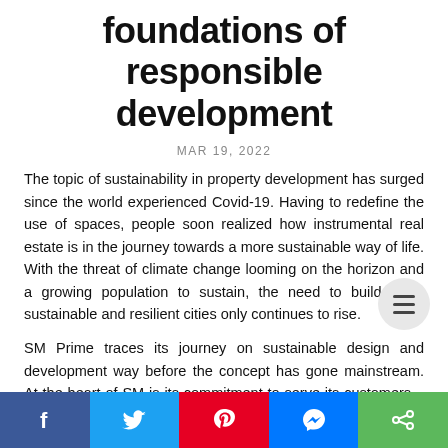foundations of responsible development
MAR 19, 2022
The topic of sustainability in property development has surged since the world experienced Covid-19. Having to redefine the use of spaces, people soon realized how instrumental real estate is in the journey towards a more sustainable way of life. With the threat of climate change looming on the horizon and a growing population to sustain, the need to build more sustainable and resilient cities only continues to rise.
SM Prime traces its journey on sustainable design and development way before the concept has gone mainstream. At the heart of SM is its commitment to serve its customers – designing its malls to bring better comfort and an enjoyable
[Figure (other): Social sharing bar at bottom with Facebook, Twitter, Pinterest, Messenger, and Share buttons]